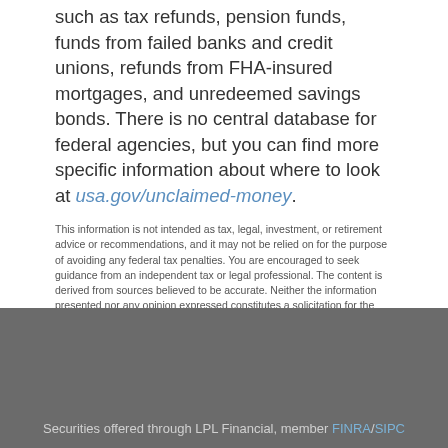such as tax refunds, pension funds, funds from failed banks and credit unions, refunds from FHA-insured mortgages, and unredeemed savings bonds. There is no central database for federal agencies, but you can find more specific information about where to look at usa.gov/unclaimed-money.
This information is not intended as tax, legal, investment, or retirement advice or recommendations, and it may not be relied on for the purpose of avoiding any federal tax penalties. You are encouraged to seek guidance from an independent tax or legal professional. The content is derived from sources believed to be accurate. Neither the information presented nor any opinion expressed constitutes a solicitation for the purchase or sale of any security. This material was written and prepared by Broadridge Advisor Solutions. © 2022 Broadridge Financial Solutions, Inc.
Securities offered through LPL Financial, member FINRA/SIPC